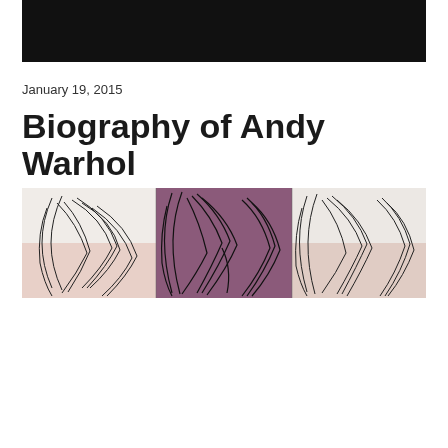[Figure (photo): Black banner/header image at the top of the page]
January 19, 2015
Biography of Andy Warhol
[Figure (photo): Horizontal strip artwork showing stylized line drawings of a figure with feathered/flowing hair in multiple panels; left and right panels are on white/light background with pink tones, center panel has a purple/mauve background. Resembles Andy Warhol pop art style illustration.]